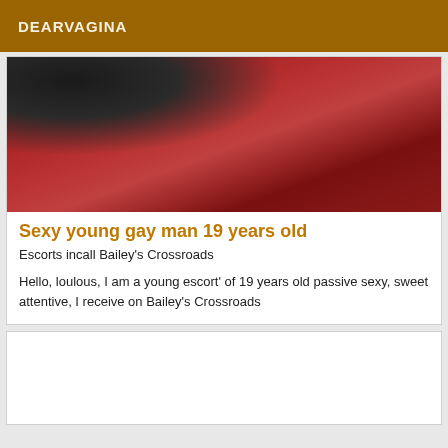DEARVAGINA
[Figure (photo): Close-up photo showing dark black shape against deep red fabric or clothing background]
Sexy young gay man 19 years old
Escorts incall Bailey's Crossroads
Hello, loulous, I am a young escort' of 19 years old passive sexy, sweet attentive, I receive on Bailey's Crossroads